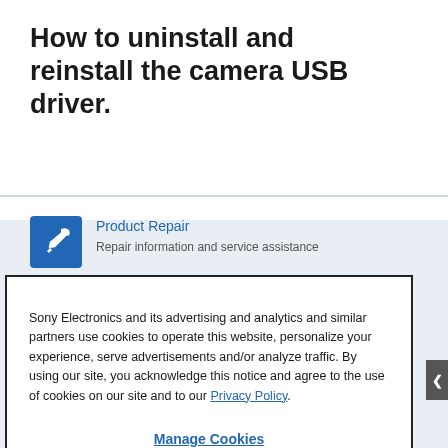How to uninstall and reinstall the camera USB driver.
[Figure (illustration): Blue square icon with white wrench symbol representing Product Repair]
Product Repair
Repair information and service assistance
Sony Electronics and its advertising and analytics and similar partners use cookies to operate this website, personalize your experience, serve advertisements and/or analyze traffic. By using our site, you acknowledge this notice and agree to the use of cookies on our site and to our Privacy Policy.
Manage Cookies